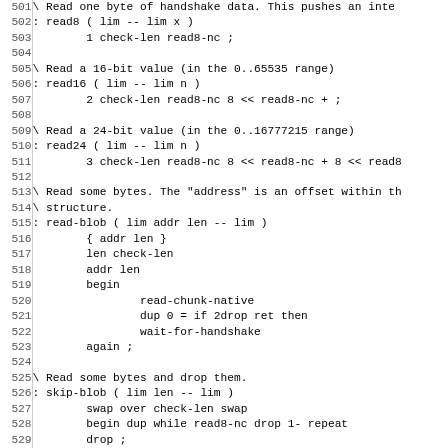501 \ Read one byte of handshake data. This pushes an inte
502 : read8 ( lim -- lim x )
503         1 check-len read8-nc ;
504
505 \ Read a 16-bit value (in the 0..65535 range)
506 : read16 ( lim -- lim n )
507         2 check-len read8-nc 8 << read8-nc + ;
508
509 \ Read a 24-bit value (in the 0..16777215 range)
510 : read24 ( lim -- lim n )
511         3 check-len read8-nc 8 << read8-nc + 8 << read8
512
513 \ Read some bytes. The "address" is an offset within th
514 \ structure.
515 : read-blob ( lim addr len -- lim )
516         { addr len }
517         len check-len
518         addr len
519         begin
520                 read-chunk-native
521                 dup 0 = if 2drop ret then
522                 wait-for-handshake
523         again ;
524
525 \ Read some bytes and drop them.
526 : skip-blob ( lim len -- lim )
527         swap over check-len swap
528         begin dup while read8-nc drop 1- repeat
529         drop ;
530
531 \ Read a 16-bit length, then skip exactly that many byt
532 : read-ignore-16 ( lim -- lim )